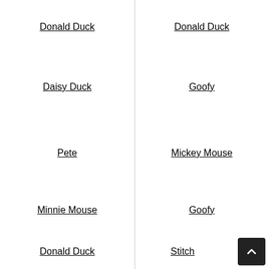Donald Duck
Donald Duck
Daisy Duck
Goofy
Pete
Mickey Mouse
Minnie Mouse
Goofy
Donald Duck
Stitch